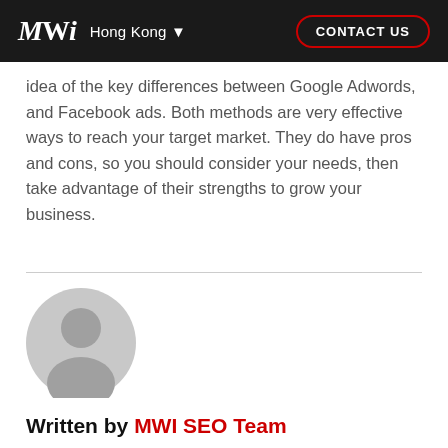MWI Hong Kong ▼  CONTACT US
idea of the key differences between Google Adwords, and Facebook ads. Both methods are very effective ways to reach your target market. They do have pros and cons, so you should consider your needs, then take advantage of their strengths to grow your business.
[Figure (illustration): Generic user avatar: circular grey silhouette of a person with head and shoulders]
Written by MWI SEO Team